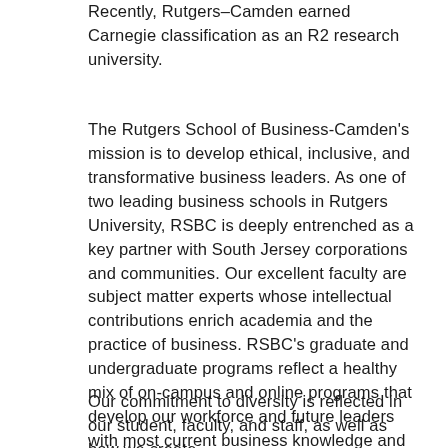Recently, Rutgers–Camden earned Carnegie classification as an R2 research university.
The Rutgers School of Business-Camden's mission is to develop ethical, inclusive, and transformative business leaders. As one of two leading business schools in Rutgers University, RSBC is deeply entrenched as a key partner with South Jersey corporations and communities. Our excellent faculty are subject matter experts whose intellectual contributions enrich academia and the practice of business. RSBC's graduate and undergraduate programs reflect a healthy mix of on-campus and online programs that develop our workforce and future leaders with most current business knowledge and practice.
Our commitment to diversity is reflected in our student, faculty, and staff, as well as how we create